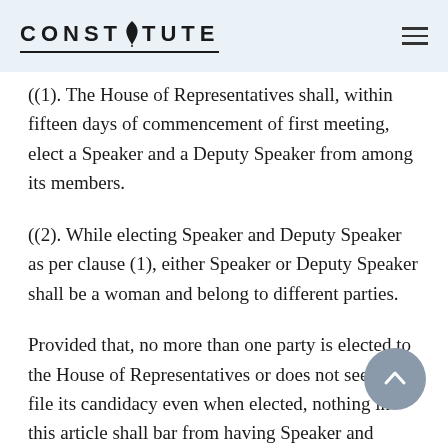CONSTITUTE
((1). The House of Representatives shall, within fifteen days of commencement of first meeting, elect a Speaker and a Deputy Speaker from among its members.
((2). While electing Speaker and Deputy Speaker as per clause (1), either Speaker or Deputy Speaker shall be a woman and belong to different parties.
Provided that, no more than one party is elected to the House of Representatives or does not seek to file its candidacy even when elected, nothing in this article shall bar from having Speaker and Deputy Speaker of the same party.
((3). If the office of the Speaker or the Deputy Speaker falls vacant, the House of Representatives shall fill the